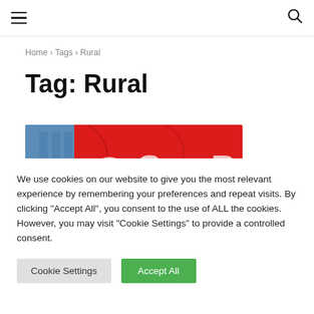☰  🔍
Home › Tags › Rural
Tag: Rural
[Figure (photo): Red flags with white lettering partially visible, showing text fragments 'So' and 'P', against a blue building background.]
We use cookies on our website to give you the most relevant experience by remembering your preferences and repeat visits. By clicking "Accept All", you consent to the use of ALL the cookies. However, you may visit "Cookie Settings" to provide a controlled consent.
Cookie Settings   Accept All